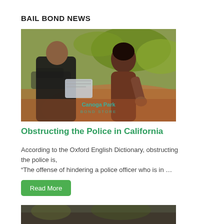BAIL BOND NEWS
[Figure (photo): A police officer in dark uniform holding papers, speaking to a woman with dark hair in a brown top, outdoors with warm lighting. A watermark reads 'Canoga Park BOND STORE'.]
Obstructing the Police in California
According to the Oxford English Dictionary, obstructing the police is, “The offense of hindering a police officer who is in …
Read More
[Figure (photo): Partial view of another article image at the bottom of the page.]